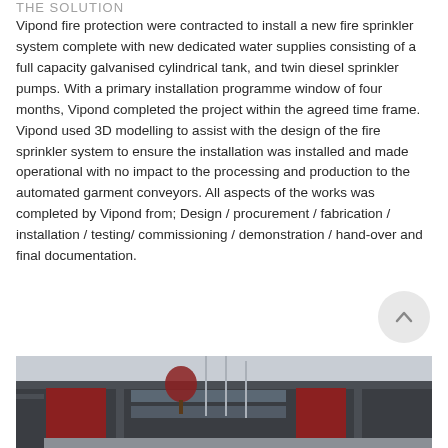THE SOLUTION
Vipond fire protection were contracted to install a new fire sprinkler system complete with new dedicated water supplies consisting of a full capacity galvanised cylindrical tank, and twin diesel sprinkler pumps. With a primary installation programme window of four months, Vipond completed the project within the agreed time frame. Vipond used 3D modelling to assist with the design of the fire sprinkler system to ensure the installation was installed and made operational with no impact to the processing and production to the automated garment conveyors. All aspects of the works was completed by Vipond from; Design / procurement / fabrication / installation / testing/ commissioning / demonstration / hand-over and final documentation.
[Figure (photo): Exterior photo of a commercial building with dark grey cladding, red panelled sections, and flagpoles in front, under an overcast sky with a red tree visible.]